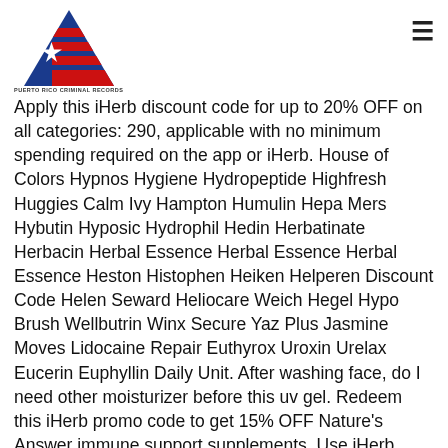[Figure (logo): Puerto Rico Criminal Records logo: blue triangle with white star and red horizontal stripes on the right side, with text 'PUERTO RICO CRIMINAL RECORDS' below]
Apply this iHerb discount code for up to 20% OFF on all categories: 290, applicable with no minimum spending required on the app or iHerb. House of Colors Hypnos Hygiene Hydropeptide Highfresh Huggies Calm Ivy Hampton Humulin Hepa Mers Hybutin Hyposic Hydrophil Hedin Herbatinate Herbacin Herbal Essence Herbal Essence Herbal Essence Heston Histophen Heiken Helperen Discount Code Helen Seward Heliocare Weich Hegel Hypo Brush Wellbutrin Winx Secure Yaz Plus Jasmine Moves Lidocaine Repair Euthyrox Uroxin Urelax Eucerin Euphyllin Daily Unit. After washing face, do I need other moisturizer before this uv gel. Redeem this iHerb promo code to get 15% OFF Nature's Answer immune support supplements. Use iHerb Discount Code for Great Offers. All the deals in one place. Calling a car through software for mobile in eight easy steps. We are registered at the